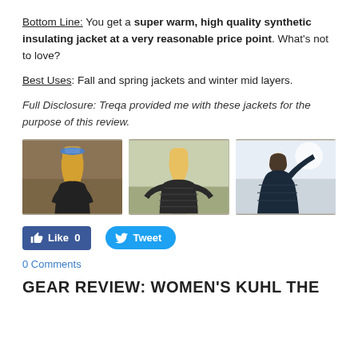Bottom Line: You get a super warm, high quality synthetic insulating jacket at a very reasonable price point. What's not to love?
Best Uses: Fall and spring jackets and winter mid layers.
Full Disclosure: Treqa provided me with these jackets for the purpose of this review.
[Figure (photo): Three photos side by side: (1) woman with long blonde hair wearing a black jacket outdoors, (2) woman facing camera wearing dark quilted puffer jacket with arms out, (3) person in dark jacket stretching/reaching upward in winter setting with bright light.]
Like 0   Tweet
0 Comments
GEAR REVIEW: WOMEN'S KUHL THE